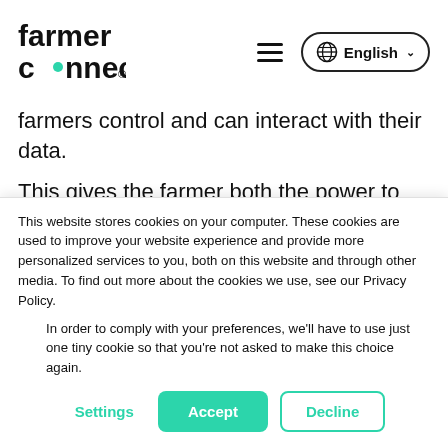[Figure (logo): Farmer Connect logo with teal dot between 'c' and 'onnect']
farmers control and can interact with their data.
This gives the farmer both the power to validate claims and statements made by their commercial counterparts and the ability to share their
This website stores cookies on your computer. These cookies are used to improve your website experience and provide more personalized services to you, both on this website and through other media. To find out more about the cookies we use, see our Privacy Policy.
In order to comply with your preferences, we'll have to use just one tiny cookie so that you're not asked to make this choice again.